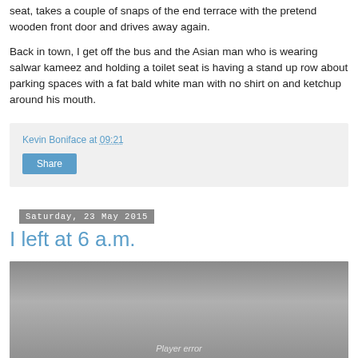seat, takes a couple of snaps of the end terrace with the pretend wooden front door and drives away again.
Back in town, I get off the bus and the Asian man who is wearing salwar kameez and holding a toilet seat is having a stand up row about parking spaces with a fat bald white man with no shirt on and ketchup around his mouth.
Kevin Boniface at 09:21
Share
Saturday, 23 May 2015
I left at 6 a.m.
[Figure (screenshot): Video player showing a grey/overcast outdoor scene with a 'Player error' message at the bottom center.]